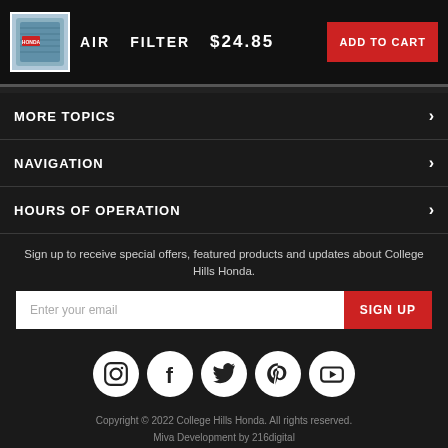[Figure (photo): Air filter product image, small blue/grey filter with Honda label]
AIR   FILTER   $24.85
ADD TO CART
MORE TOPICS
NAVIGATION
HOURS OF OPERATION
Sign up to receive special offers, featured products and updates about College Hills Honda.
Enter your email
SIGN UP
[Figure (logo): Social media icons row: Instagram, Facebook, Twitter, Pinterest, YouTube]
Copyright © 2022 College Hills Honda. All rights reserved. Miva Development by 216digital